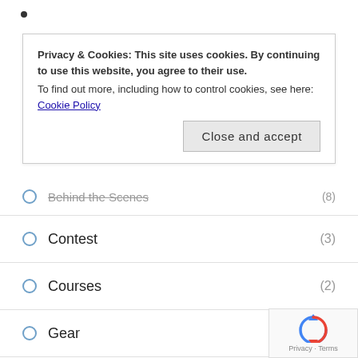Privacy & Cookies: This site uses cookies. By continuing to use this website, you agree to their use. To find out more, including how to control cookies, see here: Cookie Policy
Behind the Scenes (8)
Contest (3)
Courses (2)
Gear (15)
Hydepark (10)
Mini-Tutorial
Q & A (1)